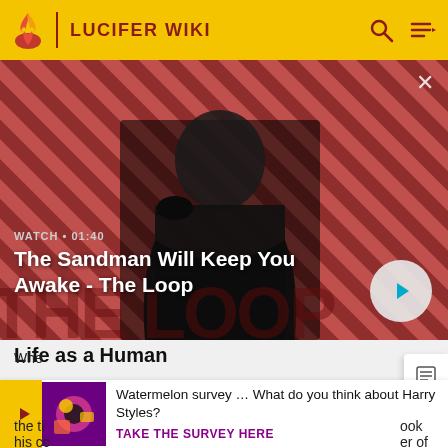LUCIFER WIKI
[Figure (screenshot): Hero video thumbnail: man in black coat with a raven on his shoulder against a red diagonal striped background. Video labeled 'The Sandman Will Keep You Awake - The Loop', WATCH 01:40, with a play button.]
WATCH • 01:40
The Sandman Will Keep You Awake - The Loop
Life as a Human
[Figure (infographic): Survey banner ad: Watermelon survey image, text 'Watermelon survey … What do you think about Harry Styles? TAKE THE SURVEY HERE']
Watermelon survey … What do you think about Harry Styles?
TAKE THE SURVEY HERE